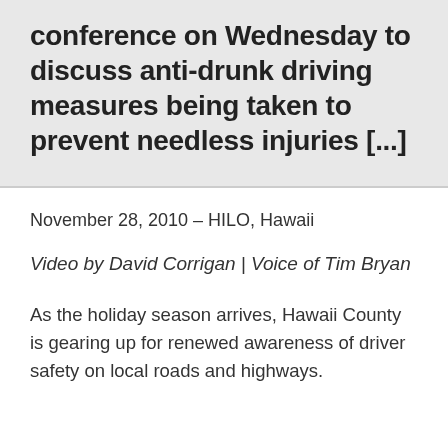County officials gathered for a media conference on Wednesday to discuss anti-drunk driving measures being taken to prevent needless injuries [...]
November 28, 2010 – HILO, Hawaii
Video by David Corrigan | Voice of Tim Bryan
As the holiday season arrives, Hawaii County is gearing up for renewed awareness of driver safety on local roads and highways.